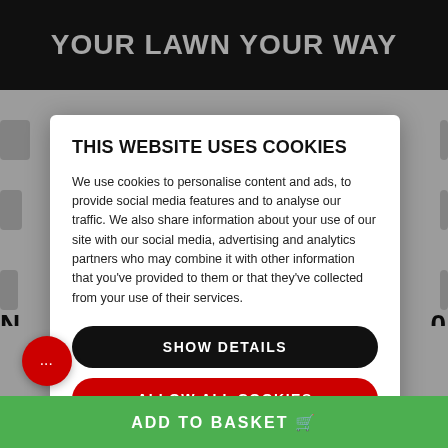YOUR LAWN YOUR WAY
THIS WEBSITE USES COOKIES
We use cookies to personalise content and ads, to provide social media features and to analyse our traffic. We also share information about your use of our site with our social media, advertising and analytics partners who may combine it with other information that you’ve provided to them or that they’ve collected from your use of their services.
SHOW DETAILS
ALLOW ALL COOKIES
ADD TO BASKET 🛒